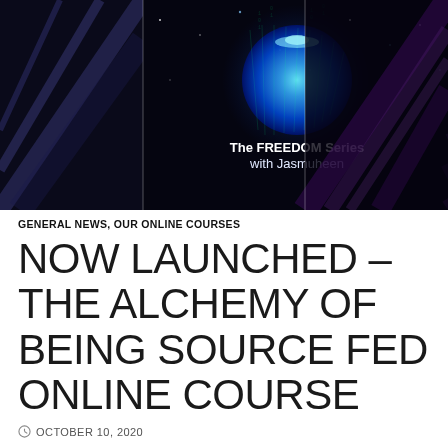[Figure (photo): Top banner image showing dark space/galaxy background with blue glowing planet/moon and text overlay 'The FREEDOM Series with Jasmuheen', plus dark streaks on left and right sides]
GENERAL NEWS, OUR ONLINE COURSES
NOW LAUNCHED – THE ALCHEMY OF BEING SOURCE FED ONLINE COURSE
OCTOBER 10, 2020
NOW AVAILABLE – THE ALCHEMY OF BEING SOURCE FED
[Figure (screenshot): Video thumbnail showing a woman with blonde hair in a circle avatar on dark blue/navy background with purple streaks. Text reads 'Introduction to The Alchemy of Sour...' and 'SOURCE FEEDING' in bold white text. A overlay rectangle is visible in the center.]